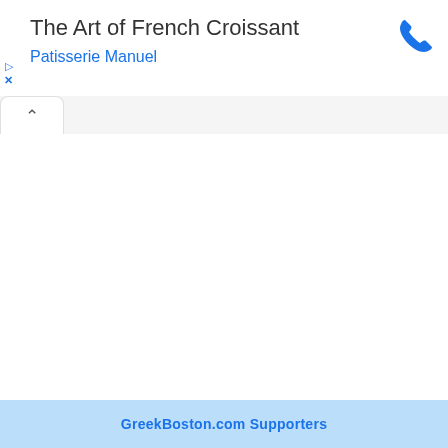The Art of French Croissant
Patisserie Manuel
GreekBoston.com Supporters